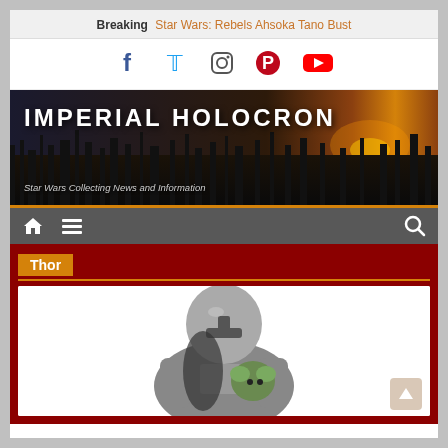Breaking Star Wars: Rebels Ahsoka Tano Bust
[Figure (infographic): Social media icons: Facebook (blue), Twitter (blue), Instagram (black/gray), Pinterest (red), YouTube (red)]
[Figure (photo): Imperial Holocron website banner with city skyline at sunset, title IMPERIAL HOLOCRON and subtitle Star Wars Collecting News and Information]
[Figure (infographic): Navigation bar with home icon, hamburger menu icon, and search icon on dark gray background with orange top border]
Thor
[Figure (photo): The Mandalorian character in silver beskar armor holding Baby Yoda (Grogu), product image on white background]